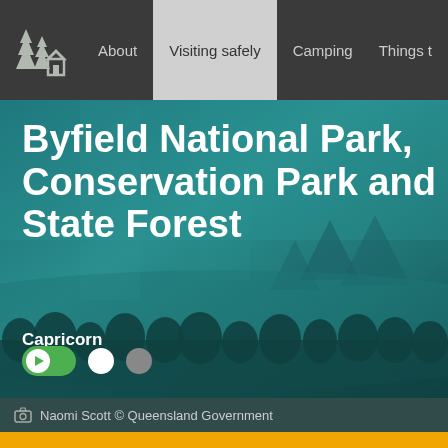About | Visiting safely | Camping | Things to
[Figure (screenshot): Queensland national parks website header with logo, navigation bar showing About, Visiting safely (active), Camping, Things to options]
Byfield National Park, Conservation Park and State Forest
Capricorn
Naomi Scott © Queensland Government
[Figure (other): Slideshow controls: green toggle play button, white dot, gray dot]